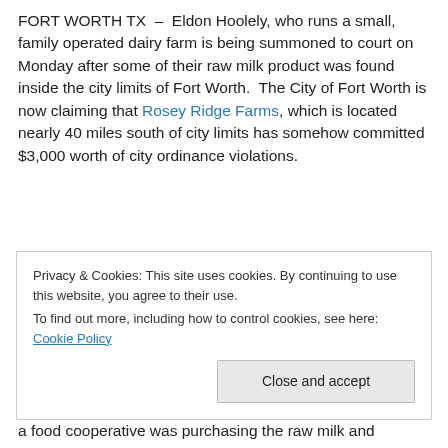FORT WORTH TX – Eldon Hoolely, who runs a small, family operated dairy farm is being summoned to court on Monday after some of their raw milk product was found inside the city limits of Fort Worth. The City of Fort Worth is now claiming that Rosey Ridge Farms, which is located nearly 40 miles south of city limits has somehow committed $3,000 worth of city ordinance violations.
Privacy & Cookies: This site uses cookies. By continuing to use this website, you agree to their use. To find out more, including how to control cookies, see here: Cookie Policy
a food cooperative was purchasing the raw milk and